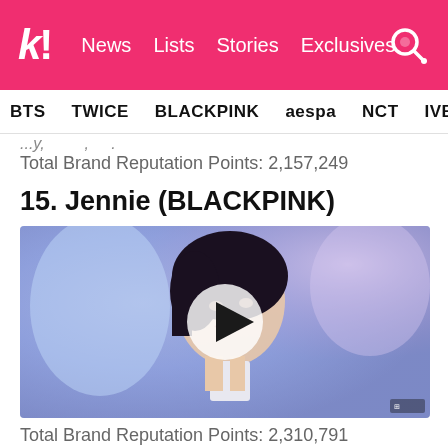k! News Lists Stories Exclusives
BTS TWICE BLACKPINK aespa NCT IVE SHINE
Total Brand Reputation Points: 2,157,249
15. Jennie (BLACKPINK)
[Figure (photo): Photo/video thumbnail of Jennie from BLACKPINK with a play button overlay. Background is blurred blue/purple tones. Subject has dark hair pulled back, wearing a white outfit.]
Total Brand Reputation Points: 2,310,791